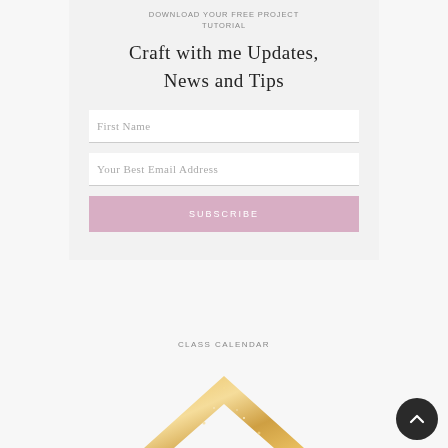DOWNLOAD YOUR FREE PROJECT TUTORIAL
Craft with me Updates, News and Tips
First Name
Your Best Email Address
SUBSCRIBE
CLASS CALENDAR
[Figure (illustration): Gold glitter chevron/arrow shape partially visible at bottom of page]